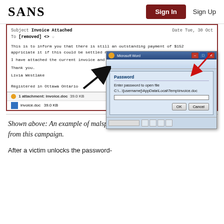SANS  Sign In  Sign Up
[Figure (screenshot): Screenshot of a malspam email with subject 'Invoice Attached' addressed to [removed], body text about outstanding payment of $152, signed Livia Westlake, Registered in Ottawa Ontario, with attached invoice.doc 39.0 KB. Overlaid is a Microsoft Word Password dialog box saying 'Enter password to open file C:\...\[username]\AppData\Local\Temp\invoice.doc' with OK and Cancel buttons. Red arrow points to password dialog, black arrow points upward to it from below.]
Shown above:  An example of malspam from this campaign.
After a victim unlocks the password-